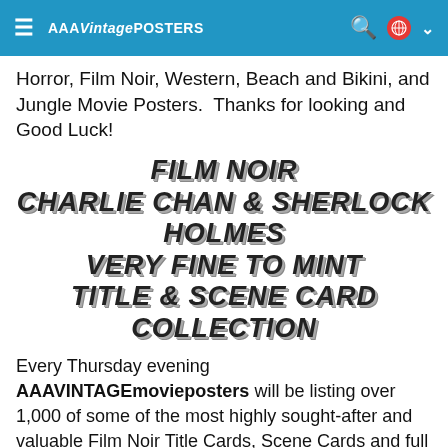AAA Vintage Posters navigation bar
Horror, Film Noir, Western, Beach and Bikini, and Jungle Movie Posters.  Thanks for looking and Good Luck!
FILM NOIR CHARLIE CHAN & SHERLOCK HOLMES VERY FINE TO MINT TITLE & SCENE CARD COLLECTION
Every Thursday evening AAAVINTAGEmovieposters will be listing over 1,000 of some of the most highly sought-after and valuable Film Noir Title Cards, Scene Cards and full Lobby Card Sets ~ All in Very Fine to Mint Condition. All will be presented in their original...